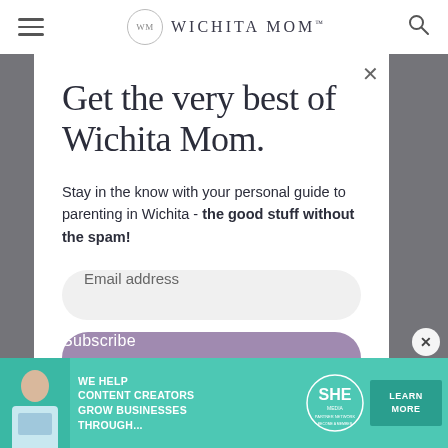WM  WICHITA MOM™
Get the very best of Wichita Mom.
Stay in the know with your personal guide to parenting in Wichita - the good stuff without the spam!
Email address
Subscribe
[Figure (screenshot): Advertisement banner: SHE Media Partner Network - We help content creators grow businesses through... Learn More]